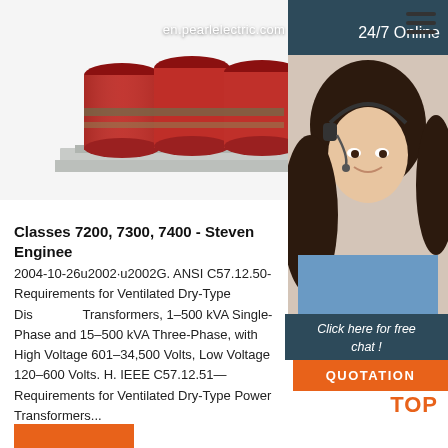[Figure (photo): Red cylindrical transformer coils mounted on a metal frame/base, product photo on white background]
en.pearlelectric.com
[Figure (photo): Customer support woman wearing headset, smiling, in sidebar with dark blue background labeled 24/7 Online]
Click here for free chat !
QUOTATION
Classes 7200, 7300, 7400 - Steven Enginee...
2004-10-26u2002·u2002G. ANSI C57.12.50-Requirements for Ventilated Dry-Type Distribution Transformers, 1–500 kVA Single-Phase and 15–500 kVA Three-Phase, with High Voltage 601–34,500 Volts, Low Voltage 120–600 Volts. H. IEEE C57.12.51—Requirements for Ventilated Dry-Type Power Transformers...